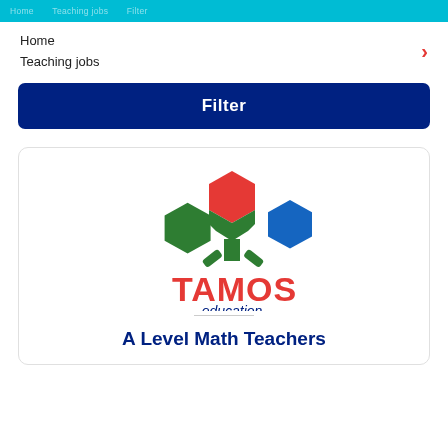Home
Teaching jobs
Filter
[Figure (logo): TAMOS Education logo: three interlocking hexagons in green, red, and blue above the text 'TAMOS education']
A Level Math Teachers